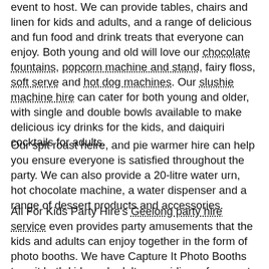event to host. We can provide tables, chairs and linen for kids and adults, and a range of delicious and fun food and drink treats that everyone can enjoy. Both young and old will love our chocolate fountains, popcorn machine and stand, fairy floss, soft serve and hot dog machines. Our slushie machine hire can cater for both young and older, with single and double bowls available to make delicious icy drinks for the kids, and daiquiri cocktails for adults.
Our spit roast heire, and pie warmer hire can help you ensure everyone is satisfied throughout the party. We can also provide a 20-litre water urn, hot chocolate machine, a water dispenser and a range of dessert products and accessories.
All For Kids Party Hire's Geelong party hire service even provides party amusements that the kids and adults can enjoy together in the form of photo booths. We have Capture It Photo Booths to suit both kids and adults, providing a fun way to capture memories together.